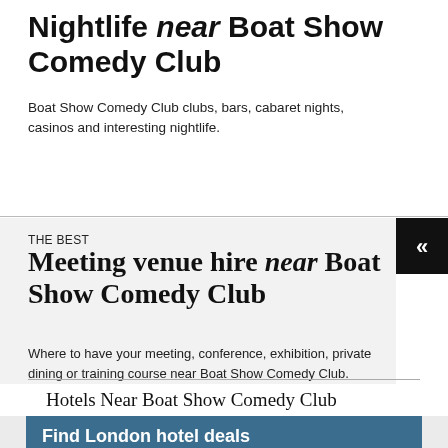Nightlife near Boat Show Comedy Club
Boat Show Comedy Club clubs, bars, cabaret nights, casinos and interesting nightlife.
THE BEST
Meeting venue hire near Boat Show Comedy Club
Where to have your meeting, conference, exhibition, private dining or training course near Boat Show Comedy Club.
Hotels Near Boat Show Comedy Club
Find London hotel deals
Near Boat Show Comedy Club